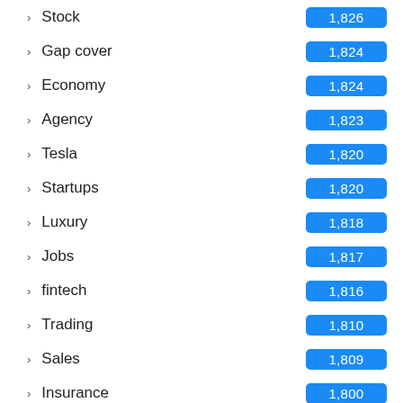Stock — 1,826
Gap cover — 1,824
Economy — 1,824
Agency — 1,823
Tesla — 1,820
Startups — 1,820
Luxury — 1,818
Jobs — 1,817
fintech — 1,816
Trading — 1,810
Sales — 1,809
Insurance — 1,800
Market — 1,780
Billionaire — 1,273
Books — ...